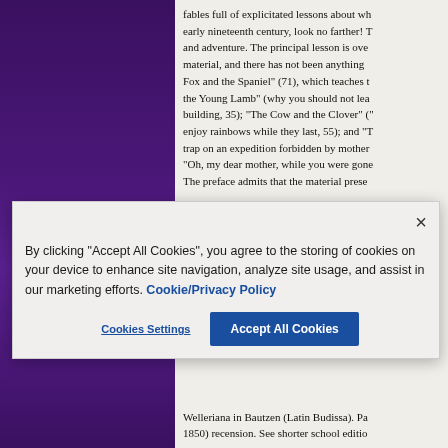fables full of explicitated lessons about wh... early nineteenth century, look no farther! T... and adventure. The principal lesson is ove... material, and there has not been anything... Fox and the Spaniel" (71), which teaches t... the Young Lamb" (why you should not lea... building, 35); "The Cow and the Clover" ("... enjoy rainbows while they last, 55); and "T... trap on an expedition forbidden by mother... "Oh, my dear mother, while you were gone... The preface admits that the material prese...
[Figure (screenshot): Cookie consent dialog popup overlaying the page content. Contains close button (×), text about cookies policy, Cookie/Privacy Policy link, 'Cookies Settings' button, and 'Accept All Cookies' blue button.]
Welleriana in Bautzen (Latin Budissa). Pa... 1850) recension. See shorter school editio...